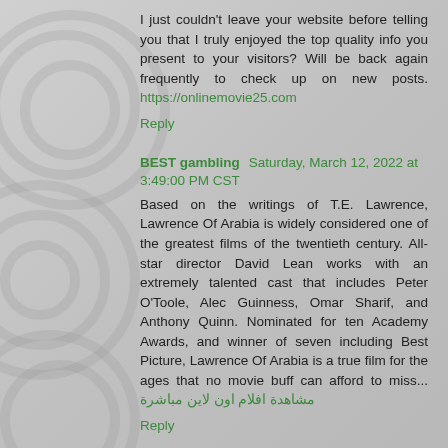I just couldn't leave your website before telling you that I truly enjoyed the top quality info you present to your visitors? Will be back again frequently to check up on new posts. https://onlinemovie25.com
Reply
BEST gambling Saturday, March 12, 2022 at 3:49:00 PM CST
Based on the writings of T.E. Lawrence, Lawrence Of Arabia is widely considered one of the greatest films of the twentieth century. All-star director David Lean works with an extremely talented cast that includes Peter O'Toole, Alec Guinness, Omar Sharif, and Anthony Quinn. Nominated for ten Academy Awards, and winner of seven including Best Picture, Lawrence Of Arabia is a true film for the ages that no movie buff can afford to miss... مشاهدة افلام اون لاين مباشرة
Reply